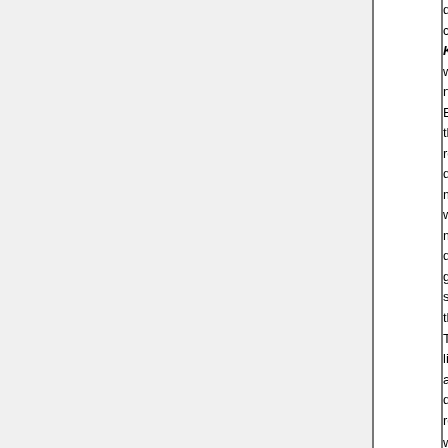different results by clicking the Kernels button will generate new mixture. Each color in the graph represents different mixture. The weight of each mixture depicted on graph in same color as the distribution. The mean likelihood always displayed red.
In the Monty Hall experiment...